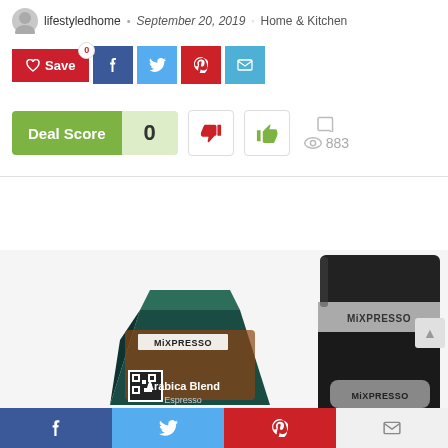lifestyledhome • September 20, 2019 • Home & Kitchen
[Figure (screenshot): Social share buttons: Save (red with heart icon, count badge 0), Facebook (dark blue), Twitter (light blue), Pinterest (red), Email (blue)]
[Figure (infographic): Deal Score widget showing score of 0, thumbs down and thumbs up vote buttons, comment icon, and 883 views]
[Figure (photo): Product photo showing MiXPRESSO Arabica Blend Espresso coffee bag and MiXPRESSO coffee machine, both partially visible, on white background]
[Figure (screenshot): Bottom navigation bar with Facebook (blue), Twitter (light blue), Pinterest (red), and Email (light gray) icons]